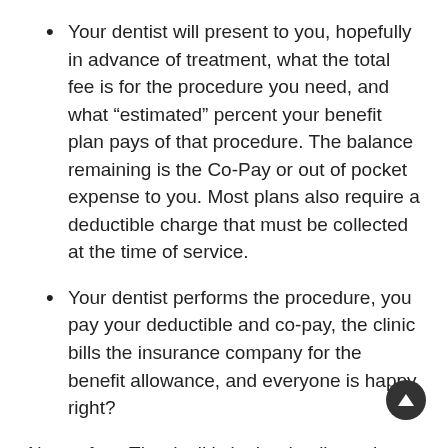Your dentist will present to you, hopefully in advance of treatment, what the total fee is for the procedure you need, and what “estimated” percent your benefit plan pays of that procedure. The balance remaining is the Co-Pay or out of pocket expense to you. Most plans also require a deductible charge that must be collected at the time of service.
Your dentist performs the procedure, you pay your deductible and co-pay, the clinic bills the insurance company for the benefit allowance, and everyone is happy right?
Not so fast. The devil is in the details as they say. Here are just a few details that often put the dental clinic in an undesirable position. These details are why dealing with insurance companies can be: expensive, patient relationship damaging,